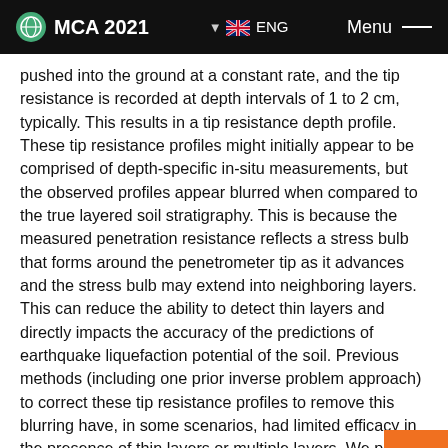MCA 2021 | ENG | Menu
pushed into the ground at a constant rate, and the tip resistance is recorded at depth intervals of 1 to 2 cm, typically. This results in a tip resistance depth profile. These tip resistance profiles might initially appear to be comprised of depth-specific in-situ measurements, but the observed profiles appear blurred when compared to the true layered soil stratigraphy. This is because the measured penetration resistance reflects a stress bulb that forms around the penetrometer tip as it advances and the stress bulb may extend into neighboring layers. This can reduce the ability to detect thin layers and directly impacts the accuracy of the predictions of earthquake liquefaction potential of the soil. Previous methods (including one prior inverse problem approach) to correct these tip resistance profiles to remove this blurring have, in some scenarios, had limited efficacy in the presence of thin layers or multiple layers. We posed this deblurring as an inverse problem constrained to the